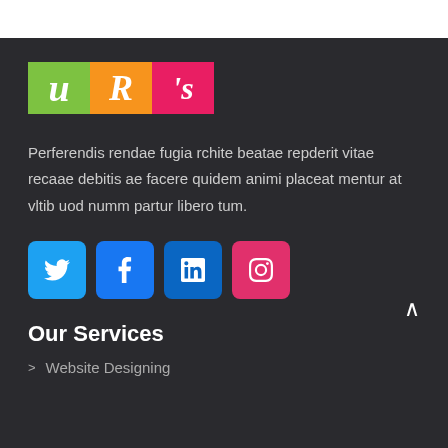[Figure (logo): URS logo with three colored blocks: green U, orange R, pink S on dark background]
Perferendis rendae fugia rchite beatae repderit vitae recaae debitis ae facere quidem animi placeat mentur at vltib uod numm partur libero tum.
[Figure (infographic): Social media icons row: Twitter (blue), Facebook (blue), LinkedIn (blue), Instagram (red)]
Our Services
Website Designing